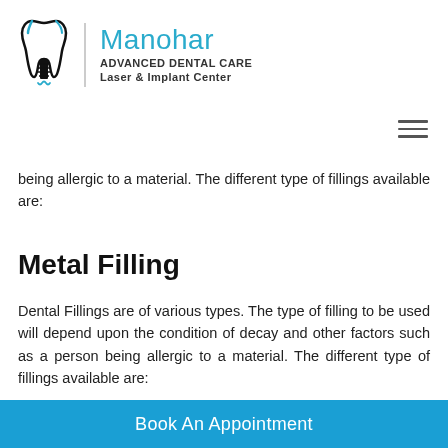[Figure (logo): Manohar Advanced Dental Care Laser & Implant Center logo with tooth/implant icon in black and blue]
being allergic to a material. The different type of fillings available are:
Metal Filling
Dental Fillings are of various types. The type of filling to be used will depend upon the condition of decay and other factors such as a person being allergic to a material. The different type of fillings available are:
Book An Appointment